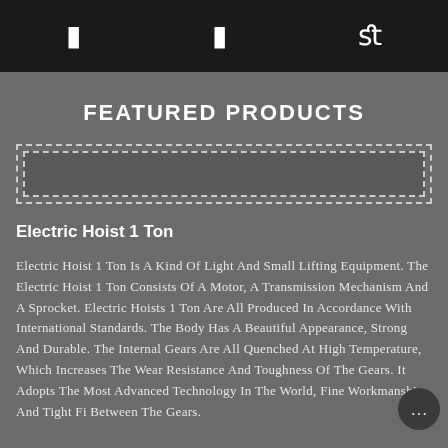[ ] [ ] fl
FEATURED PRODUCTS
[Figure (other): Dashed border placeholder box for product image]
Electric Hoist 1 Ton
Electric Hoist 1 Ton Is A Kind Of Light And Small Lifting Equipment. The Electric Hoist 1 Ton Consists Of A Motor, A Transmission Mechanism And A Sprocket. Electric Hoists 1 Ton Are All Produced In Accordance With International Standards. The Body Has A Beautiful Appearance, Strong And Durable. The Internal Gears Are All Quenched At High Temperature, Which Increases The Wear Resistance And Toughness Of The Gears. It Adopts The Most Advanced Technology In The World, Fine Workmanship, And Tight Fi Between The Gears.